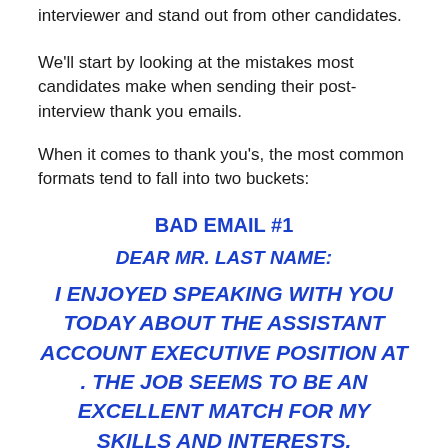interviewer and stand out from other candidates.
We'll start by looking at the mistakes most candidates make when sending their post-interview thank you emails.
When it comes to thank you's, the most common formats tend to fall into two buckets:
BAD EMAIL #1
DEAR MR. LAST NAME:
I ENJOYED SPEAKING WITH YOU TODAY ABOUT THE ASSISTANT ACCOUNT EXECUTIVE POSITION AT . THE JOB SEEMS TO BE AN EXCELLENT MATCH FOR MY SKILLS AND INTERESTS.
IN ADDITION TO MY ENTHUSIASM, I WILL